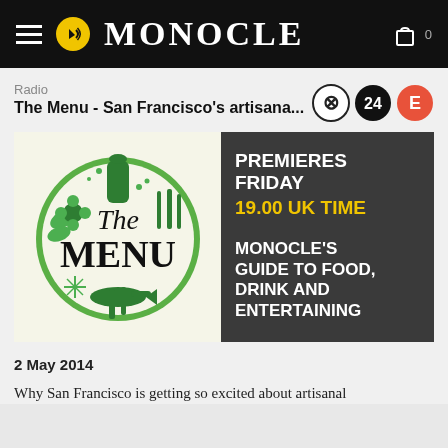MONOCLE
Radio
The Menu - San Francisco's artisana...
[Figure (screenshot): Feature banner showing 'The Menu' radio show logo on left (circular green illustration with food items) and show premiere details on dark background on right: PREMIERES FRIDAY 19.00 UK TIME / MONOCLE'S GUIDE TO FOOD, DRINK AND ENTERTAINING]
2 May 2014
Why San Francisco is getting so excited about artisanal